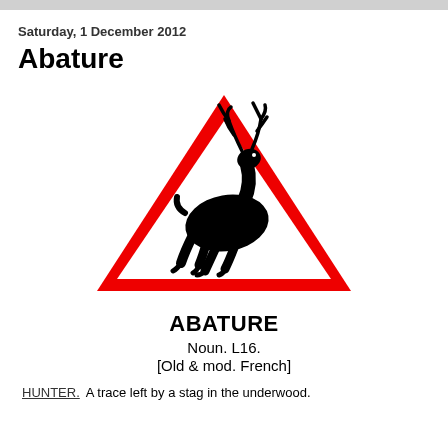Saturday, 1 December 2012
Abature
[Figure (illustration): A European warning road sign (red-bordered white triangle) with a black silhouette of a running stag/deer in the center]
ABATURE
Noun. L16.
[Old & mod. French]
HUNTER. A trace left by a stag in the underwood.